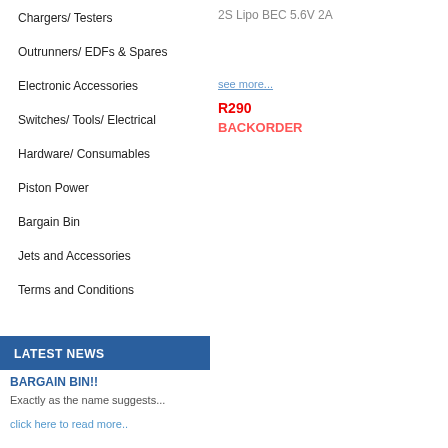Chargers/ Testers
Outrunners/ EDFs & Spares
Electronic Accessories
Switches/ Tools/ Electrical
Hardware/ Consumables
Piston Power
Bargain Bin
Jets and Accessories
Terms and Conditions
2S Lipo BEC 5.6V 2A
see more...
R290
BACKORDER
LATEST NEWS
BARGAIN BIN!!
Exactly as the name suggests...
click here to read more..